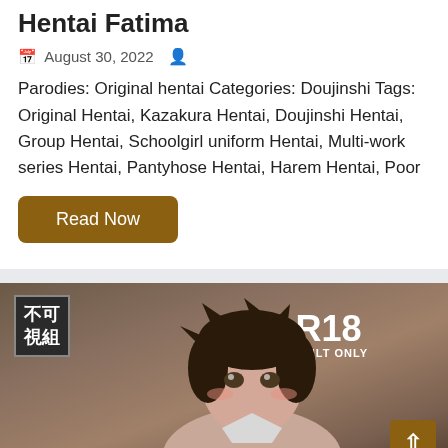Hentai Fatima
August 30, 2022
Parodies: Original hentai Categories: Doujinshi Tags: Original Hentai, Kazakura Hentai, Doujinshi Hentai, Group Hentai, Schoolgirl uniform Hentai, Multi-work series Hentai, Pantyhose Hentai, Harem Hentai, Poor
Read Now
[Figure (illustration): Manga cover art showing an anime character with dark hair, with Chinese characters (不可視組) in top left corner and R18 ADULT ONLY badge on right side. A back-to-top arrow button in gold/brown color in bottom right corner.]